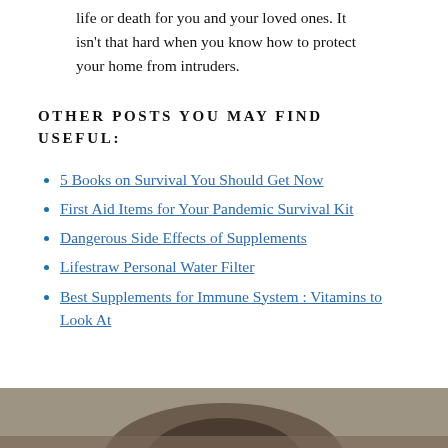life or death for you and your loved ones. It isn't that hard when you know how to protect your home from intruders.
OTHER POSTS YOU MAY FIND USEFUL:
5 Books on Survival You Should Get Now
First Aid Items for Your Pandemic Survival Kit
Dangerous Side Effects of Supplements
Lifestraw Personal Water Filter
Best Supplements for Immune System : Vitamins to Look At
[Figure (photo): Partial view of a person's face and head, cropped at bottom of page]